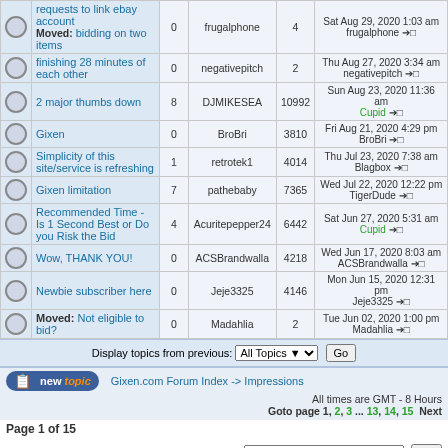|  | Topic | Replies | Author | Views | Last Post |
| --- | --- | --- | --- | --- | --- |
|  | requests to link ebay account
Moved: bidding on two items | 0 | frugalphone | 4 | Sat Aug 29, 2020 1:03 am frugalphone |
|  | finishing 28 minutes of each other | 0 | negativepitch | 2 | Thu Aug 27, 2020 3:34 am negativepitch |
|  | 2 major thumbs down | 8 | DJMIKESEA | 10992 | Sun Aug 23, 2020 11:36 am Cupid |
|  | Gixen | 0 | BroBri | 3810 | Fri Aug 21, 2020 4:29 pm BroBri |
|  | Simplicity of this site/service is refreshing | 1 | retrotek1 | 4014 | Thu Jul 23, 2020 7:38 am Blagbox |
|  | Gixen limitation | 7 | pathebaby | 7365 | Wed Jul 22, 2020 12:22 pm TigerDude |
|  | Recommended Time - Is 1 Second Best or Do you Risk the Bid | 4 | Acuritepepper24 | 6442 | Sat Jun 27, 2020 5:31 am Cupid |
|  | Wow, THANK YOU! | 0 | ACSBrandwalla | 4218 | Wed Jun 17, 2020 8:03 am ACSBrandwalla |
|  | Newbie subscriber here | 0 | Jeje3325 | 4146 | Mon Jun 15, 2020 12:31 pm Jeje3325 |
|  | Moved: Not eligible to bid? | 0 | Madahlia | 2 | Tue Jun 02, 2020 1:00 pm Madahlia |
Display topics from previous: All Topics Go
Gixen.com Forum Index -> Impressions   All times are GMT - 8 Hours
Goto page 1, 2, 3 ... 13, 14, 15  Next
Page 1 of 15
Jump to: Select a forum  Go
New posts   No new posts   Announcement   You can post new topics in this forum
New posts [  No new posts [  Sticky   You can reply to topics in this